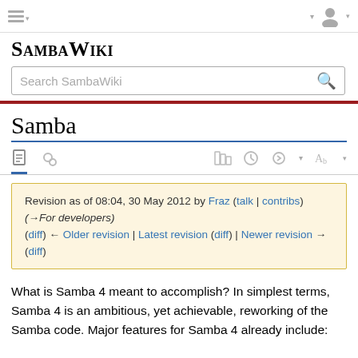SambaWiki
Samba
Revision as of 08:04, 30 May 2012 by Fraz (talk | contribs) (→For developers)
(diff) ← Older revision | Latest revision (diff) | Newer revision → (diff)
What is Samba 4 meant to accomplish? In simplest terms, Samba 4 is an ambitious, yet achievable, reworking of the Samba code. Major features for Samba 4 already include: